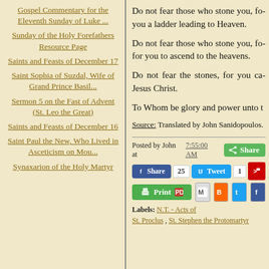Gospel Commentary for the Eleventh Sunday of Luke ...
Sunday of the Holy Forefathers Resource Page
Saints and Feasts of December 17
Saint Sophia of Suzdal, Wife of Grand Prince Basil...
Sermon 5 on the Fast of Advent (St. Leo the Great)
Saints and Feasts of December 16
Saint Paul the New, Who Lived in Asceticism on Mou...
Synaxarion of the Holy Martyr
Do not fear those who stone you, for you a ladder leading to Heaven.
Do not fear those who stone you, for you to ascend to the heavens.
Do not fear the stones, for you can Jesus Christ.
To Whom be glory and power unto t
Source: Translated by John Sanidopoulos.
Posted by John at 7:55:00 AM
Labels: N.T. - Acts of, St. Proclus, St. Stephen the Protomartyr